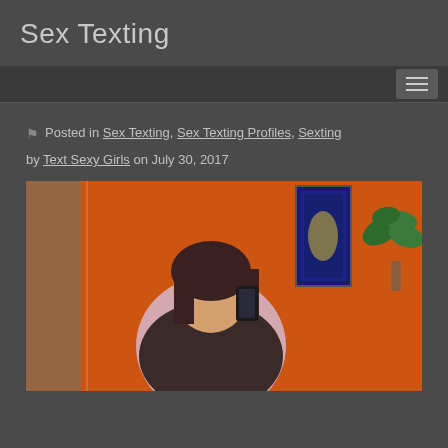Sex Texting
Posted in Sex Texting, Sex Texting Profiles, Sexting by Text Sexy Girls on July 30, 2017
[Figure (photo): A woman taking a mirror selfie in a room with orange walls, holding a black phone. There is a plant and a framed picture visible in the background.]